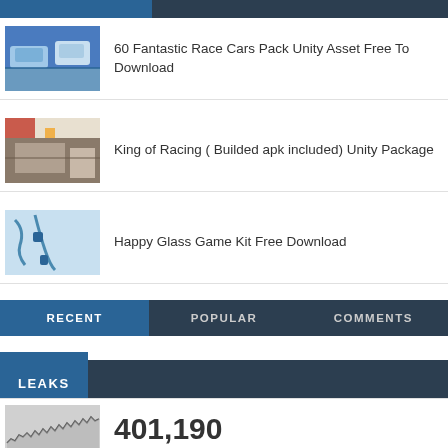60 Fantastic Race Cars Pack Unity Asset Free To Download
King of Racing ( Builded apk included) Unity Package
Happy Glass Game Kit Free Download
RECENT   POPULAR   COMMENTS
LEAKS
401,190